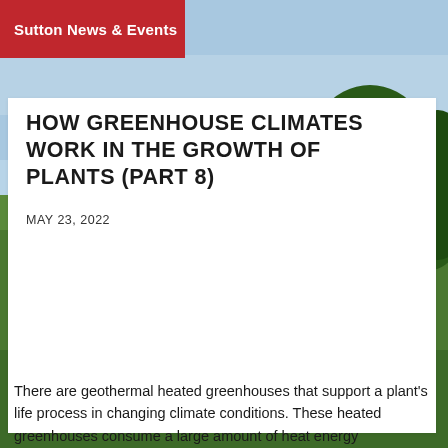Sutton News & Events
[Figure (photo): Aerial or ground-level outdoor photo of an estate or garden with trees, green lawn, and a pale blue sky]
HOW GREENHOUSE CLIMATES WORK IN THE GROWTH OF PLANTS (PART 8)
MAY 23, 2022
There are geothermal heated greenhouses that support a plant's life process in changing climate conditions. These heated greenhouses consume a large amount of heat energy